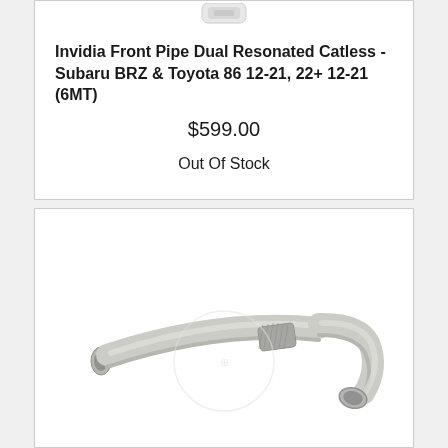[Figure (photo): Partial view of an exhaust pipe product image (cropped at top)]
Invidia Front Pipe Dual Resonated Catless - Subaru BRZ & Toyota 86 12-21, 22+ 12-21 (6MT)
$599.00
Out Of Stock
[Figure (photo): Stainless steel exhaust front pipe with flex section, curved J-shape design]